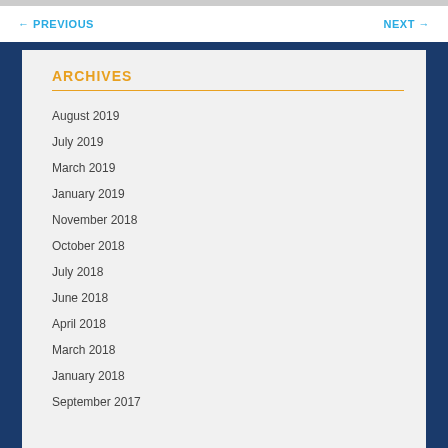← PREVIOUS    NEXT →
ARCHIVES
August 2019
July 2019
March 2019
January 2019
November 2018
October 2018
July 2018
June 2018
April 2018
March 2018
January 2018
September 2017